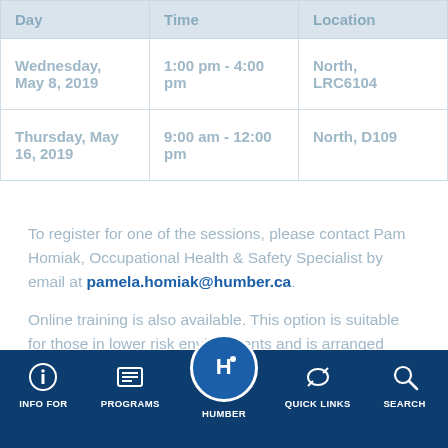| Day | Time | Location |
| --- | --- | --- |
| Wednesday, May 8, 2019 | 1:00 pm - 4:00 pm | North, LRC6104 |
| Thursday, May 16, 2019 | 9:00 am - 12:00 pm | North, D109 |
To register for one of the sessions, please contact Pam Homiak, Occupational Health & Safety Specialist by email at pamela.homiak@humber.ca.
Online training is also available. This option is suitable for those in lower risk environments and is arranged through the supervisor. For information, please contact Pam Homiak, Occupational Health & Safety
INFO FOR | PROGRAMS | HUMBER | QUICK LINKS | SEARCH